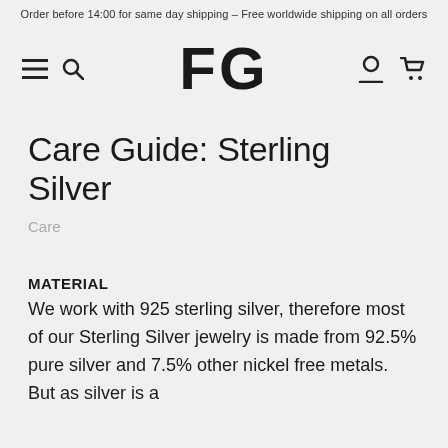Order before 14:00 for same day shipping – Free worldwide shipping on all orders
[Figure (logo): FG brand logo in large bold letters, with hamburger menu and search icons on the left, user account and cart icons on the right]
Care Guide: Sterling Silver
Care
MATERIAL
We work with 925 sterling silver, therefore most of our Sterling Silver jewelry is made from 92.5% pure silver and 7.5% other nickel free metals. But as silver is a